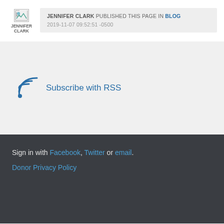[Figure (photo): Small avatar image placeholder for Jennifer Clark with broken image icon]
JENNIFER CLARK PUBLISHED THIS PAGE IN BLOG 2019-11-07 09:52:51 -0500
[Figure (other): RSS feed icon - curved signal lines]
Subscribe with RSS
Sign in with Facebook, Twitter or email.
Donor Privacy Policy